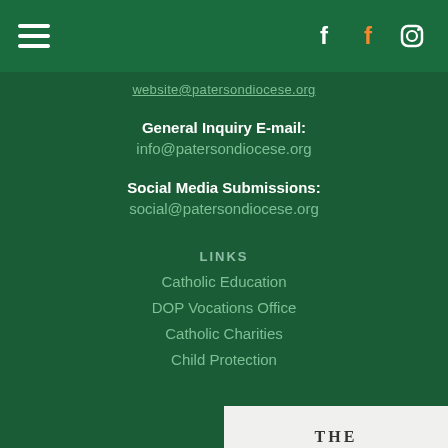Navigation bar with hamburger menu and social media icons (Facebook x2, Instagram)
website@patersondiocese.org
General Inquiry E-mail:
info@patersondiocese.org
Social Media Submissions:
social@patersondiocese.org
LINKS
Catholic Education
DOP Vocations Office
Catholic Charities
Child Protection